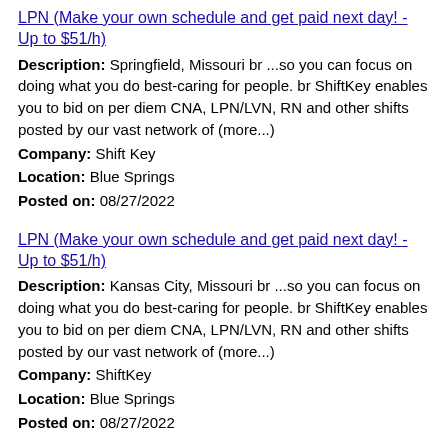LPN (Make your own schedule and get paid next day! - Up to $51/h)
Description: Springfield, Missouri br ...so you can focus on doing what you do best-caring for people. br ShiftKey enables you to bid on per diem CNA, LPN/LVN, RN and other shifts posted by our vast network of (more...)
Company: Shift Key
Location: Blue Springs
Posted on: 08/27/2022
LPN (Make your own schedule and get paid next day! - Up to $51/h)
Description: Kansas City, Missouri br ...so you can focus on doing what you do best-caring for people. br ShiftKey enables you to bid on per diem CNA, LPN/LVN, RN and other shifts posted by our vast network of (more...)
Company: ShiftKey
Location: Blue Springs
Posted on: 08/27/2022
Shift Lead
Description: Job Description: Opens and closes the store in the absence of store management, including all required systems start-ups, required cash handling, and ensuring the floor and stock